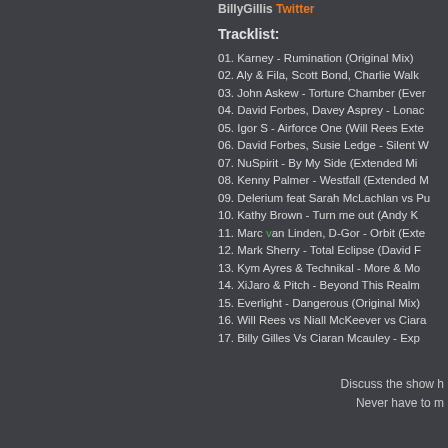BillyGillis Twitter
Tracklist:
01. Karney - Rumination (Original Mix)
02. Aly & Fila, Scott Bond, Charlie Walk
03. John Askew - Torture Chamber (Ever
04. David Forbes, Davey Asprey - Lonac
05. Igor S - Airforce One (Will Rees Exte
06. David Forbes, Susie Ledge - Silent W
07. NuSpirit - By My Side (Extended Mi
08. Kenny Palmer - Westfall (Extended M
09. Delerium feat Sarah McLachlan vs Pu
10. Kathy Brown - Turn me out (Andy K
11. Marc van Linden, D-Gor - Orbit (Exte
12. Mark Sherry - Total Eclipse (David F
13. Kym Ayres & Technikal - More & Mo
14. XiJaro & Pitch - Beyond This Realm
15. Everlight - Dangerous (Original Mix)
16. Will Rees vs Niall McKeever vs Ciara
17. Billy Gilles Vs Ciaran Mcauley - Exp
Discuss the show h
Never have to m